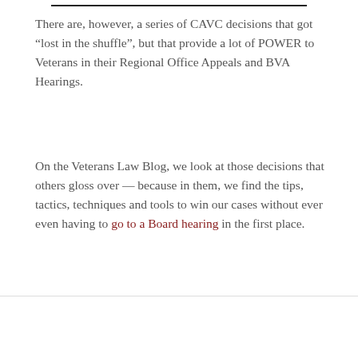There are, however, a series of CAVC decisions that got “lost in the shuffle”, but that provide a lot of POWER to Veterans in their Regional Office Appeals and BVA Hearings.
On the Veterans Law Blog, we look at those decisions that others gloss over — because in them, we find the tips, tactics, techniques and tools to win our cases without ever even having to go to a Board hearing in the first place.